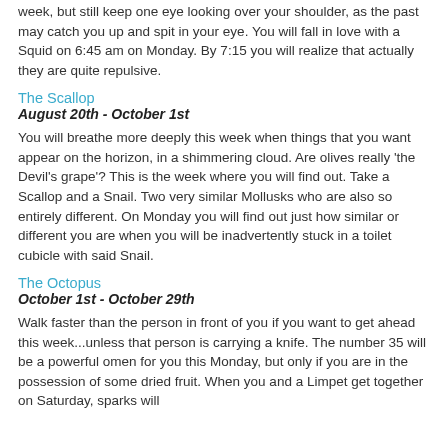week, but still keep one eye looking over your shoulder, as the past may catch you up and spit in your eye. You will fall in love with a Squid on 6:45 am on Monday. By 7:15 you will realize that actually they are quite repulsive.
The Scallop
August 20th - October 1st
You will breathe more deeply this week when things that you want appear on the horizon, in a shimmering cloud. Are olives really 'the Devil's grape'? This is the week where you will find out. Take a Scallop and a Snail. Two very similar Mollusks who are also so entirely different. On Monday you will find out just how similar or different you are when you will be inadvertently stuck in a toilet cubicle with said Snail.
The Octopus
October 1st - October 29th
Walk faster than the person in front of you if you want to get ahead this week...unless that person is carrying a knife. The number 35 will be a powerful omen for you this Monday, but only if you are in the possession of some dried fruit. When you and a Limpet get together on Saturday, sparks will